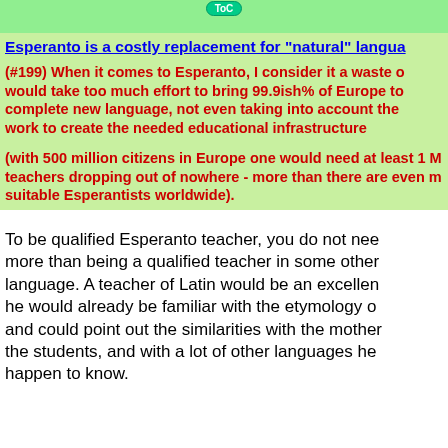[Figure (other): Green TOC button on a light green bar at the top of the page]
Esperanto is a costly replacement for "natural" langu...
(#199) When it comes to Esperanto, I consider it a waste o... would take too much effort to bring 99.9ish% of Europe to... complete new language, not even taking into account the... work to create the needed educational infrastructure
(with 500 million citizens in Europe one would need at least 1 M... teachers dropping out of nowhere - more than there are even m... suitable Esperantists worldwide).
To be qualified Esperanto teacher, you do not nee... more than being a qualified teacher in some other... language. A teacher of Latin would be an excellen... he would already be familiar with the etymology o... and could point out the similarities with the mothe... the students, and with a lot of other languages he... happen to know.